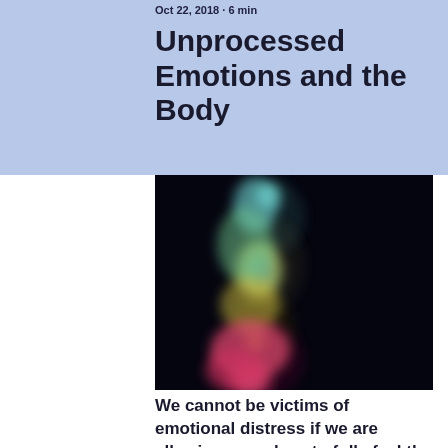Oct 22, 2018 · 6 min
Unprocessed Emotions and the Body
[Figure (illustration): A heat-map style colorful illustration of a human figure crouched or bowed, showing teal/green colors on the upper body and head region, transitioning to yellow, orange, and pink/magenta on the lower body, set against a dark/black background. The image appears to visualize emotional energy or body sensations.]
We cannot be victims of emotional distress if we are allowing ourselves to fully feel the